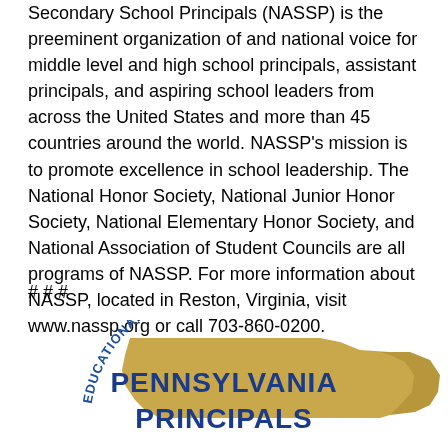Secondary School Principals (NASSP) is the preeminent organization of and national voice for middle level and high school principals, assistant principals, and aspiring school leaders from across the United States and more than 45 countries around the world. NASSP's mission is to promote excellence in school leadership. The National Honor Society, National Junior Honor Society, National Elementary Honor Society, and National Association of Student Councils are all programs of NASSP. For more information about NASSP, located in Reston, Virginia, visit www.nassp.org or call 703-860-0200.
# # #
[Figure (logo): Pennsylvania Principals Association logo showing a gold silhouette of Pennsylvania state with text 'EDUCATIONAL LEADERS' arched around the top and 'PENNSYLVANIA PRINCIPALS' in blue bold text across the center.]